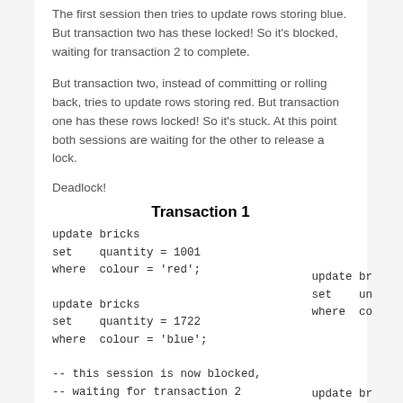The first session then tries to update rows storing blue. But transaction two has these locked! So it's blocked, waiting for transaction 2 to complete.
But transaction two, instead of committing or rolling back, tries to update rows storing red. But transaction one has these rows locked! So it's stuck. At this point both sessions are waiting for the other to release a lock.
Deadlock!
Transaction 1
update bricks
set    quantity = 1001
where  colour = 'red';

update bricks
set    quantity = 1722
where  colour = 'blue';

-- this session is now blocked,
-- waiting for transaction 2
update br
set    un
where  co

update br